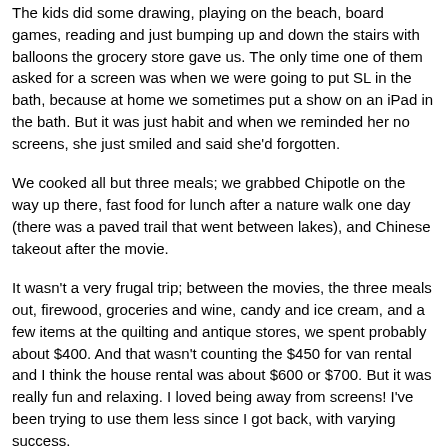The kids did some drawing, playing on the beach, board games, reading and just bumping up and down the stairs with balloons the grocery store gave us. The only time one of them asked for a screen was when we were going to put SL in the bath, because at home we sometimes put a show on an iPad in the bath. But it was just habit and when we reminded her no screens, she just smiled and said she'd forgotten.
We cooked all but three meals; we grabbed Chipotle on the way up there, fast food for lunch after a nature walk one day (there was a paved trail that went between lakes), and Chinese takeout after the movie.
It wasn't a very frugal trip; between the movies, the three meals out, firewood, groceries and wine, candy and ice cream, and a few items at the quilting and antique stores, we spent probably about $400. And that wasn't counting the $450 for van rental and I think the house rental was about $600 or $700. But it was really fun and relaxing. I loved being away from screens! I've been trying to use them less since I got back, with varying success.
We got back last Sunday, and I've mainly been focused on getting back in the swing of things at work and back into the home routine of cooking etc. After four straight weeks of trips it's taking a while to feel settled again.
One thing I had to do in the middle of the week was get follow-up tests for the abnormal mammogram I got in March. I'm happy and relieved to say that it turned out to be a benign cyst which they drained on the spot. I'm